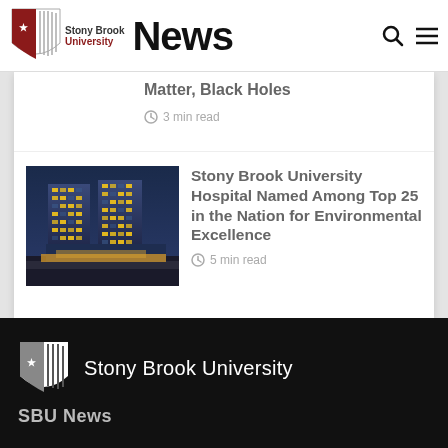Stony Brook University News
Matter, Black Holes
3 min read
[Figure (photo): Stony Brook University Hospital building at night, modern tall towers with lit windows]
Stony Brook University Hospital Named Among Top 25 in the Nation for Environmental Excellence
5 min read
Stony Brook University
SBU News